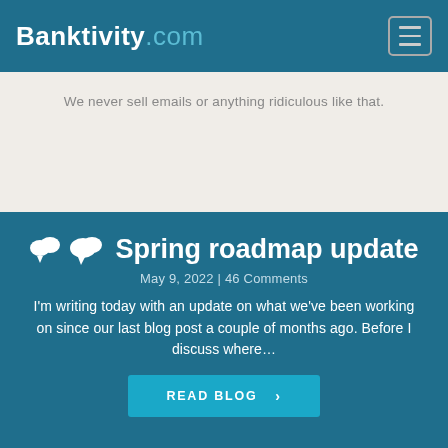Banktivity.com
We never sell emails or anything ridiculous like that.
Spring roadmap update
May 9, 2022 | 46 Comments
I'm writing today with an update on what we've been working on since our last blog post a couple of months ago. Before I discuss where…
READ BLOG
On Twitter